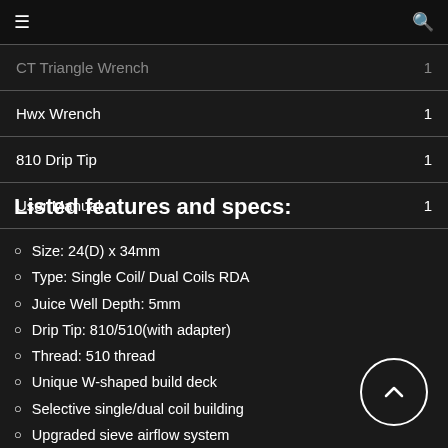≡   Q
| Item | Qty |
| --- | --- |
| CT Triangle Wrench | 1 |
| Hwx Wrench | 1 |
| 810 Drip Tip | 1 |
| User Manual | 1 |
Listed features and specs:
Size: 24(D) x 34mm
Type: Single Coil/ Dual Coils RDA
Juice Well Depth: 5mm
Drip Tip: 810/510(with adapter)
Thread: 510 thread
Unique W-shaped build deck
Selective single/dual coil building
Upgraded sieve airflow system
Arrayed airflow design provides precise control